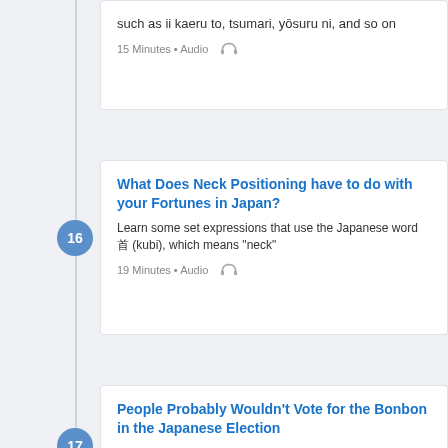such as ii kaeru to, tsumari, yōsuru ni, and so on
15 Minutes • Audio
What Does Neck Positioning have to do with your Fortunes in Japan?
Learn some set expressions that use the Japanese word 首 (kubi), which means "neck"
19 Minutes • Audio
People Probably Wouldn't Vote for the Bonbon in the Japanese Election
Learn the usage of the Japanese auxiliary verbs -mai and -yō, which express the speaker's conjecture
20 Minutes • Audio
I'd Rather Be Safe than Sorry During an